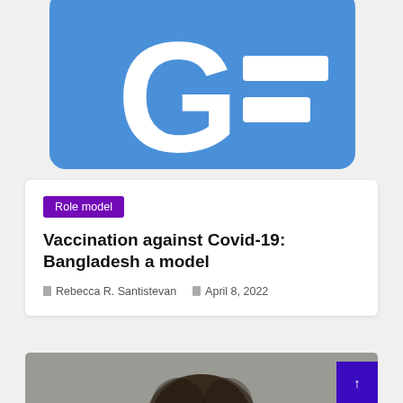[Figure (logo): Google News logo — blue rounded rectangle with white G letter and two white horizontal bars on the right, partially cropped at top]
Role model
Vaccination against Covid-19: Bangladesh a model
Rebecca R. Santistevan   April 8, 2022
[Figure (photo): Bottom portion of a person with dark wavy/curly hair visible, photographed against a grey background, image partially cropped]